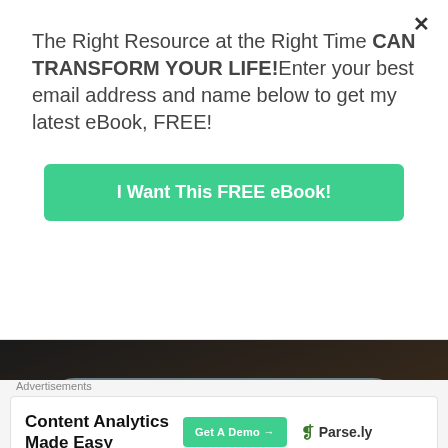The Right Resource at the Right Time CAN TRANSFORM YOUR LIFE!Enter your best email address and name below to get my latest eBook, FREE!
I Want This FREE eBook!
[Figure (photo): Dark background photo of a person, with a 'READ MORE →' button overlaid on a light blue pill-shaped button, and a scroll bar and close circle at bottom]
Advertisements
Content Analytics Made Easy
Get A Demo →
Parse.ly